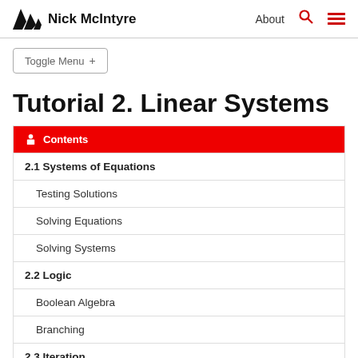Nick McIntyre   About
Toggle Menu +
Tutorial 2. Linear Systems
| Contents |
| --- |
| 2.1 Systems of Equations |
| Testing Solutions |
| Solving Equations |
| Solving Systems |
| 2.2 Logic |
| Boolean Algebra |
| Branching |
| 2.3 Iteration |
| while statements |